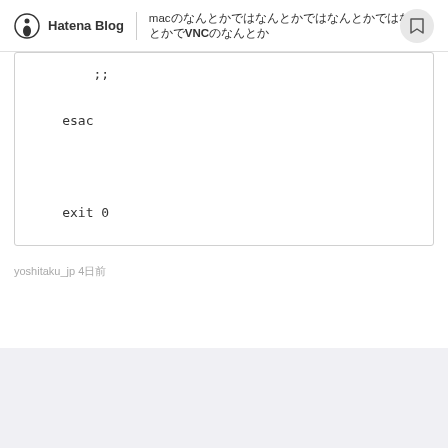Hatena Blog | macのなんとかでVNCのなんとか
;;

esac



exit 0
yoshitaku_jp 4日前